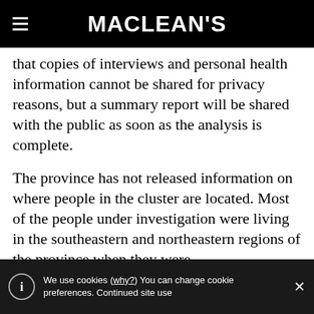MACLEAN'S
that copies of interviews and personal health information cannot be shared for privacy reasons, but a summary report will be shared with the public as soon as the analysis is complete.
The province has not released information on where people in the cluster are located. Most of the people under investigation were living in the southeastern and northeastern regions of the province when they were
We use cookies (why?) You can change cookie preferences. Continued site use